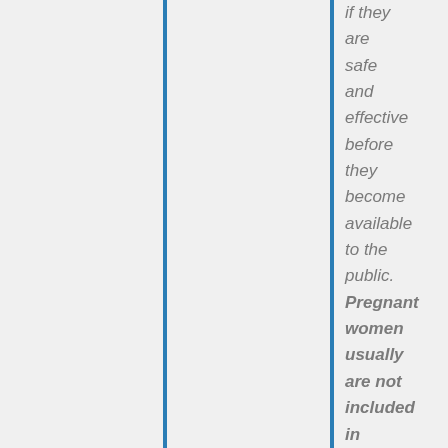if they are safe and effective before they become available to the public. Pregnant women usually are not included in these tests because of the possible